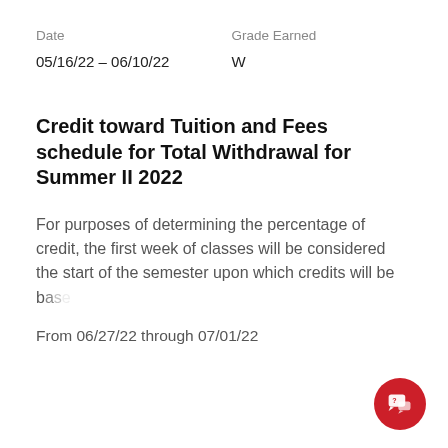| Date | Grade Earned |
| --- | --- |
| 05/16/22 – 06/10/22 | W |
Credit toward Tuition and Fees schedule for Total Withdrawal for Summer II 2022
For purposes of determining the percentage of credit, the first week of classes will be considered the start of the semester upon which credits will be based.
From 06/27/22 through 07/01/22